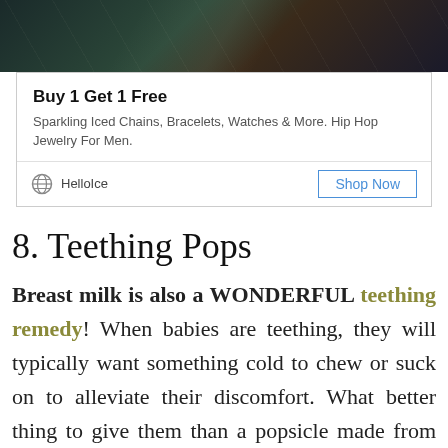[Figure (photo): Dark background photo strip showing a person in a floral/tropical print outfit]
Buy 1 Get 1 Free
Sparkling Iced Chains, Bracelets, Watches & More. Hip Hop Jewelry For Men.
HelloIce  Shop Now
8. Teething Pops
Breast milk is also a WONDERFUL teething remedy! When babies are teething, they will typically want something cold to chew or suck on to alleviate their discomfort. What better thing to give them than a popsicle made from frozen breast milk?! It's great for them and also great for their sore gums!